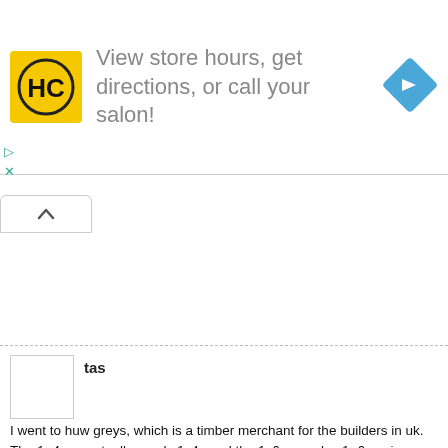[Figure (infographic): Advertisement banner for a salon/hair care business with HC logo (black HC letters on yellow background), text 'View store hours, get directions, or call your salon!', and a blue navigation arrow diamond icon. Includes small play and close (X) control icons on the left side.]
[Figure (other): Collapse/hide button with an upward-pointing caret (^) chevron icon in a rounded rectangular button.]
tas
I went to huw greys, which is a timber merchant for the builders in uk. The 1×4 are actually nearly 1x4s and the 1x6s are also 1×6 s minus less than 1/8 of an inch (22mm x150mm). The 4×2 s are 47mmx 100mm. There is no point naming them 1×4 and 1×6 unless they actually are. I have hit problems at every turn due to the measurements. I am not a professional builder but rather I build wooden structures as a hobby. I usually draw my own plans or modify others but the first time, I have followed the exact plans has turned into a great hassle. Huge disappointment. I hold 4 graduate degrees and if I struggle, then I cannot believe that I am the only one to expect exact measurements and the only one to struggle either.
I would urge that the fact that the 1×4 and 1×6 are not exact measurements be stated upfront.